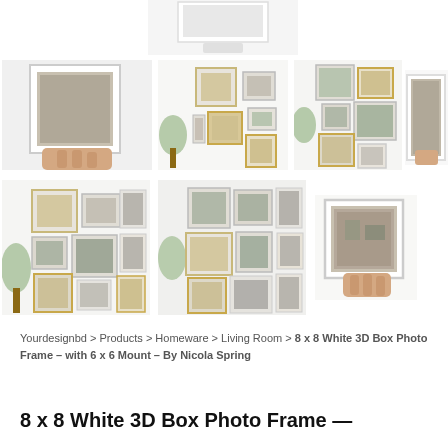[Figure (photo): Product image grid showing 8x8 White 3D Box Photo Frame by Nicola Spring. Top: partial view of white box frame. Row 1: hand holding frame, gallery wall with mixed frames, another gallery wall, partial frame on right. Row 2: two larger gallery wall images and one hand-held frame.]
Yourdesignbd > Products > Homeware > Living Room > 8 x 8 White 3D Box Photo Frame – with 6 x 6 Mount – By Nicola Spring
8 x 8 White 3D Box Photo Frame —